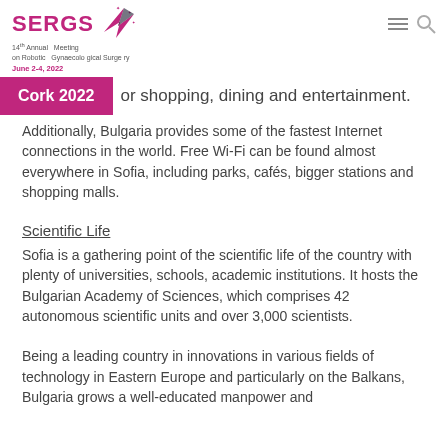SERGS 14th Annual Meeting on Robotic Gynaecological Surgery June 2-4, 2022
or shopping, dining and entertainment.
Cork 2022
Additionally, Bulgaria provides some of the fastest Internet connections in the world. Free Wi-Fi can be found almost everywhere in Sofia, including parks, cafés, bigger stations and shopping malls.
Scientific Life
Sofia is a gathering point of the scientific life of the country with plenty of universities, schools, academic institutions. It hosts the Bulgarian Academy of Sciences, which comprises 42 autonomous scientific units and over 3,000 scientists.
Being a leading country in innovations in various fields of technology in Eastern Europe and particularly on the Balkans, Bulgaria grows a well-educated manpower and